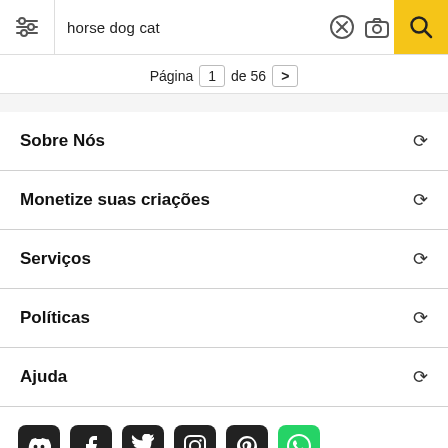[Figure (screenshot): Search bar with filter icon on left, 'horse dog cat' text, X button, camera icon, and yellow search button on right]
Página 1 de 56 >
Sobre Nós
Monetize suas criações
Serviços
Políticas
Ajuda
[Figure (illustration): Social media icons row: Discord, Facebook, Twitter, Instagram, Pinterest, WhatsApp]
Todos os direitos reservados. © Inmagine Lab Pte Ltd 2022.